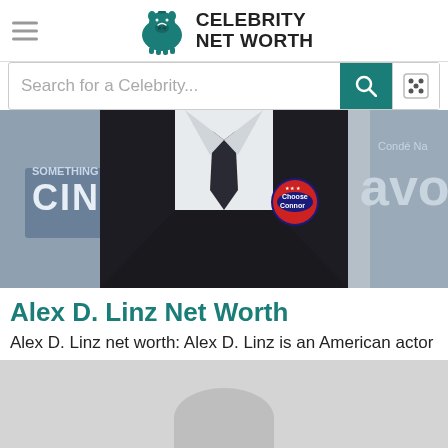Celebrity Net Worth
Search for a Celebrity...
[Figure (photo): Photo of Alex D. Linz in a black suit with a white shirt and dark tie, wearing a campaign button that reads 'Choose Connor', at an event with Condé Nast and other signage in the background.]
Alex D. Linz Net Worth
Alex D. Linz net worth: Alex D. Linz is an American actor who has a net worth of $400 thousand. Alex D. Linz was
[Figure (photo): Partial bottom image showing a gray background with the top of a rounded gray shape, partially cropped.]